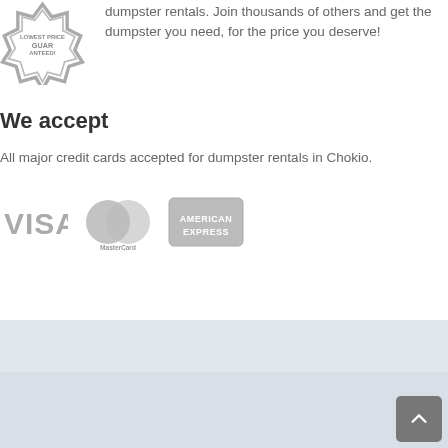[Figure (logo): Guaranteed badge/seal logo in grey]
dumpster rentals. Join thousands of others and get the dumpster you need, for the price you deserve!
We accept
All major credit cards accepted for dumpster rentals in Chokio.
[Figure (logo): Payment logos: VISA, MasterCard, American Express in grey]
MN Dumpster Rental
Copyright © 2016. All rights reserved.